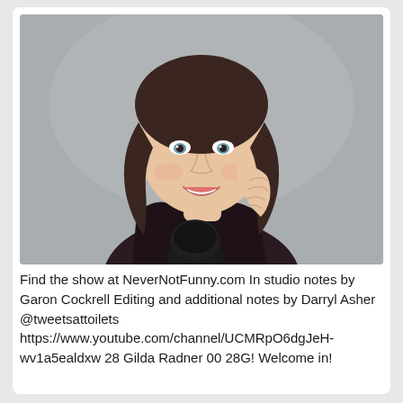[Figure (photo): A smiling woman with brown hair and bangs, wearing a dark floral top, resting her hand on her cheek, with a black microphone in front of her. Plain grey background, podcast/studio setting.]
Find the show at NeverNotFunny.com In studio notes by Garon Cockrell Editing and additional notes by Darryl Asher @tweetsattoilets https://www.youtube.com/channel/UCMRpO6dgJeH-wv1a5ealdxw 28 Gilda Radner 00 28G! Welcome in!